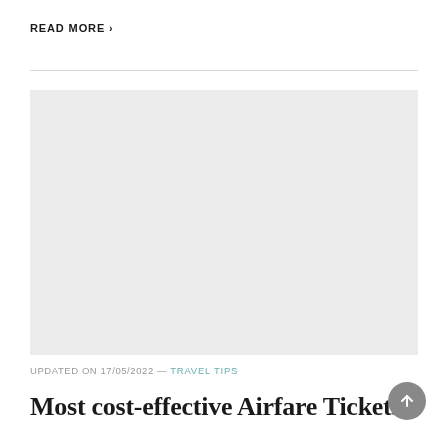READ MORE >
[Figure (photo): Light grey rectangular image placeholder]
UPDATED ON 17/05/2022 — TRAVEL TIPS
Most cost-effective Airfare Tickets